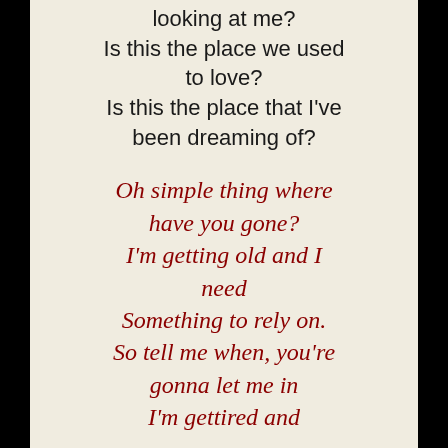looking at me? Is this the place we used to love? Is this the place that I've been dreaming of?
Oh simple thing where have you gone? I'm getting old and I need Something to rely on. So tell me when, you're gonna let me in I'm getting tired and